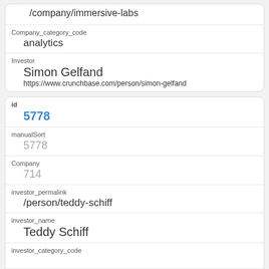| /company/immersive-labs |
| Company_category_code | analytics |
| Investor | Simon Gelfand | https://www.crunchbase.com/person/simon-gelfand |
| id | 5778 |
| manualSort | 5778 |
| Company | 714 |
| investor_permalink | /person/teddy-schiff |
| investor_name | Teddy Schiff |
| investor_category_code |  |
| investor_country_code |  |